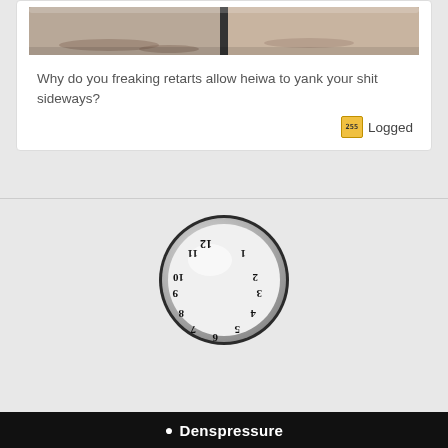[Figure (photo): Partial photo visible at top of post card showing an outdoor scene with shadows and sandy/reddish ground, with a dark vertical divider in the center]
Why do you freaking retarts allow heiwa to yank your shit sideways?
Logged
[Figure (photo): A circular clock face with mirrored/reflected numbers arranged in reverse orientation, giving a mirror-image effect. The clock is silver/grey with a glossy surface.]
Denspressure